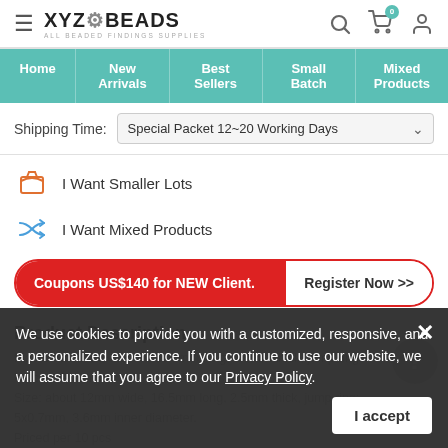[Figure (logo): XYZ Beads logo with hamburger menu icon and subtitle 'ALL BEADED FINDINGS SUPPLIES']
[Figure (infographic): Navigation bar with Home, New Arrivals, Best Sellers, Small Batch, Mixed Products on teal background]
Shipping Time: Special Packet 12~20 Working Days
I Want Smaller Lots
I Want Mixed Products
Coupons US$140 for NEW Client.   Register Now >>
Product Description
We use cookies to provide you with a customized, responsive, and a personalized experience. If you continue to use our website, we will assume that you agree to our Privacy Policy.
Size: about 12mm wide, 16.5mm long, 2.5mm thick, jump ring: 5x0.7mm, 3.6mm inner diameter.
Priced per 10 pcs
Please Note: